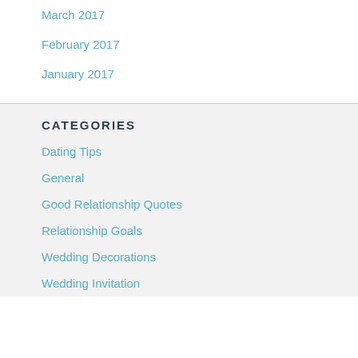March 2017
February 2017
January 2017
CATEGORIES
Dating Tips
General
Good Relationship Quotes
Relationship Goals
Wedding Decorations
Wedding Invitation